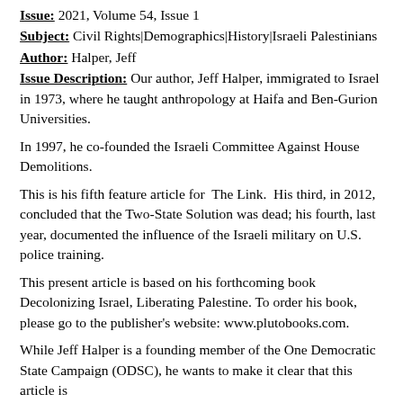Issue: 2021, Volume 54, Issue 1
Subject: Civil Rights|Demographics|History|Israeli Palestinians
Author: Halper, Jeff
Issue Description: Our author, Jeff Halper, immigrated to Israel in 1973, where he taught anthropology at Haifa and Ben-Gurion Universities.
In 1997, he co-founded the Israeli Committee Against House Demolitions.
This is his fifth feature article for  The Link.  His third, in 2012, concluded that the Two-State Solution was dead; his fourth, last year, documented the influence of the Israeli military on U.S. police training.
This present article is based on his forthcoming book Decolonizing Israel, Liberating Palestine. To order his book, please go to the publisher's website: www.plutobooks.com.
While Jeff Halper is a founding member of the One Democratic State Campaign (ODSC), he wants to make it clear that this article is